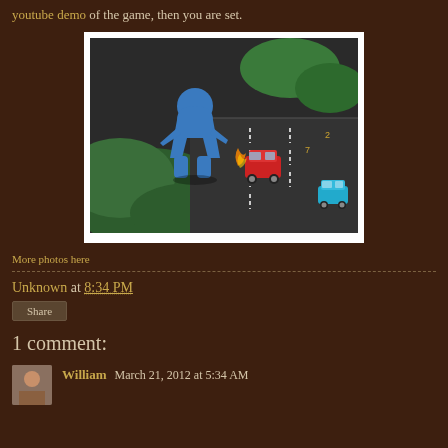youtube demo of the game, then you are set.
[Figure (photo): A blue meeple game piece standing on a board game map, with a small red toy car and a small blue toy car on what appears to be a road/intersection area of the game board.]
More photos here
Unknown at 8:34 PM
Share
1 comment:
William March 21, 2012 at 5:34 AM